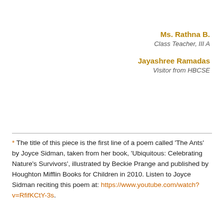Ms. Rathna B.
Class Teacher, III A
Jayashree Ramadas
Visitor from HBCSE
* The title of this piece is the first line of a poem called 'The Ants' by Joyce Sidman, taken from her book, 'Ubiquitous: Celebrating Nature's Survivors', illustrated by Beckie Prange and published by Houghton Mifflin Books for Children in 2010. Listen to Joyce Sidman reciting this poem at: https://www.youtube.com/watch?v=RfifKCtY-3s.